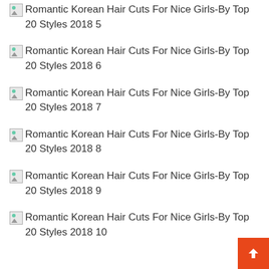Romantic Korean Hair Cuts For Nice Girls-By Top 20 Styles 2018 5
Romantic Korean Hair Cuts For Nice Girls-By Top 20 Styles 2018 6
Romantic Korean Hair Cuts For Nice Girls-By Top 20 Styles 2018 7
Romantic Korean Hair Cuts For Nice Girls-By Top 20 Styles 2018 8
Romantic Korean Hair Cuts For Nice Girls-By Top 20 Styles 2018 9
Romantic Korean Hair Cuts For Nice Girls-By Top 20 Styles 2018 10